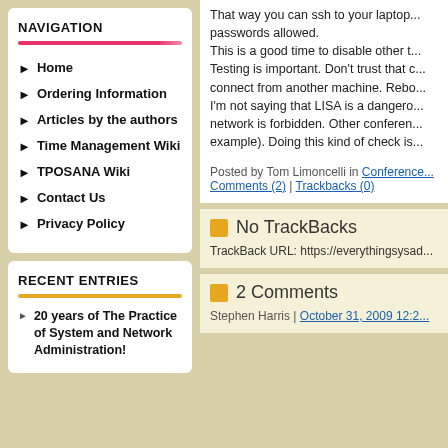NAVIGATION
Home
Ordering Information
Articles by the authors
Time Management Wiki
TPOSANA Wiki
Contact Us
Privacy Policy
RECENT ENTRIES
20 years of The Practice of System and Network Administration!
That way you can ssh to your laptop... passwords allowed.
This is a good time to disable other t...
Testing is important. Don't trust that ... connect from another machine. Rebo...
I'm not saying that LISA is a dangero... network is forbidden. Other conferen... example). Doing this kind of check is...
Posted by Tom Limoncelli in Conference... Comments (2) | Trackbacks (0)
No TrackBacks
TrackBack URL: https://everythingsysad...
2 Comments
Stephen Harris | October 31, 2009 12:2...